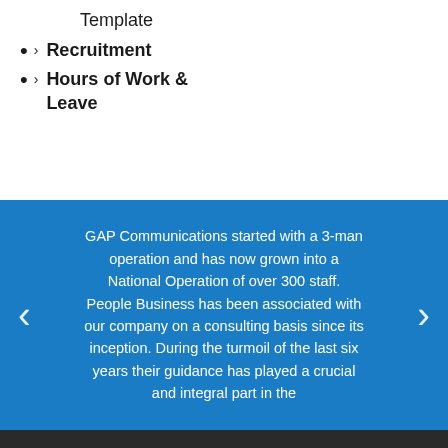Template
> Recruitment
> Hours of Work & Leave
GAP Communications started with a 3-man operation and has now grown into a National Operation of over 300 staff. People Business has been associated with our company on a consulting basis since its inception. During the turmoil of the last six years their guidance has played a crucial and integral part in the